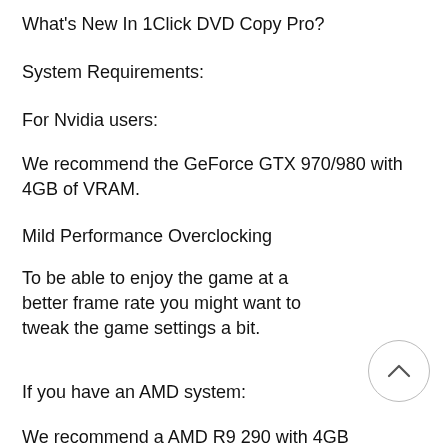What's New In 1Click DVD Copy Pro?
System Requirements:
For Nvidia users:
We recommend the GeForce GTX 970/980 with 4GB of VRAM.
Mild Performance Overclocking
To be able to enjoy the game at a better frame rate you might want to tweak the game settings a bit.
If you have an AMD system:
We recommend a AMD R9 290 with 4GB of VRAM.
The Steam Page
Changelog
4.5.4
Battle for Chernobyl updated to v4.